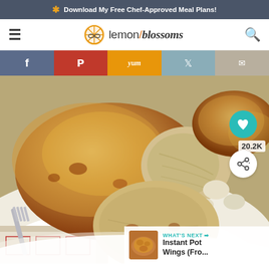* Download My Free Chef-Approved Meal Plans!
[Figure (logo): Lemon Blossoms website logo with lemon slice icon]
[Figure (infographic): Social sharing buttons: Facebook, Pinterest, Yummly, Twitter, Email]
[Figure (photo): Close-up photo of cooked chicken pieces on a white plate with a fork, showing golden-brown seasoned skin and juicy interior]
20.2K
WHAT'S NEXT → Instant Pot Wings (Fro...